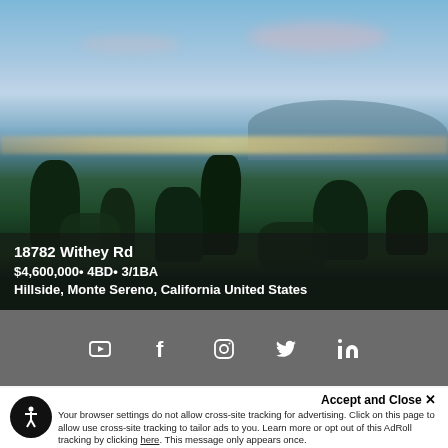[Figure (photo): Aerial dusk photograph of a hillside property view showing city lights, trees, and mountains in the background with a blue-pink sky]
18782 Withey Rd
$4,600,000• 4BD• 3/1BA
Hillside, Monte Sereno, California United States
[Figure (infographic): Social media icons bar with YouTube, Facebook, Instagram, Twitter, and LinkedIn icons on a gray background]
Accept and Close ✕
Your browser settings do not allow cross-site tracking for advertising. Click on this page to allow use cross-site tracking to tailor ads to you. Learn more or opt out of this AdRoll tracking by clicking here. This message only appears once.